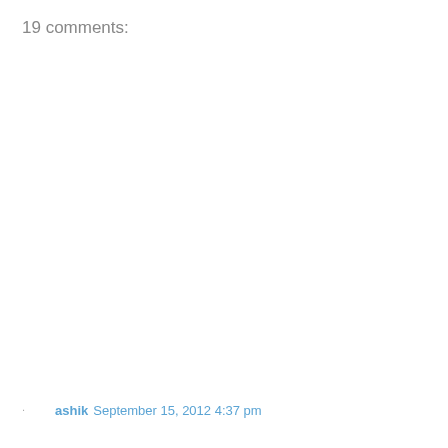19 comments:
ashik September 15, 2012 4:37 pm